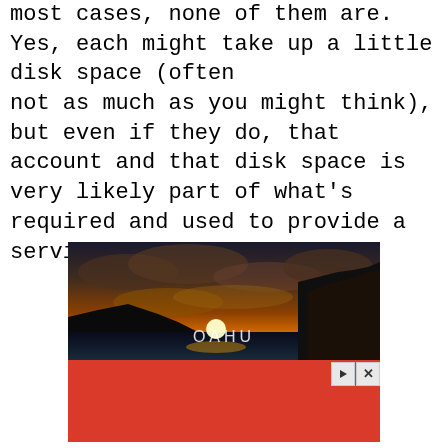most cases, none of them are. Yes, each might take up a little disk space (often not as much as you might think), but even if they do, that account and that disk space is very likely part of what's required and used to provide a service on your machine.
[Figure (photo): Sunset over ocean with rocky cliff on right side; text overlay reading 'OAHU' in white letters. Below the photo is a red advertisement banner with play and close control buttons.]